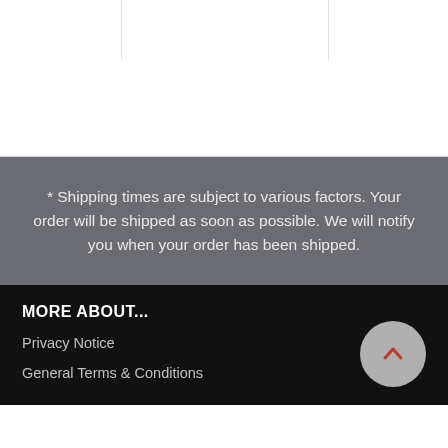* Shipping times are subject to various factors. Your order will be shipped as soon as possible. We will notify you when your order has been shipped.
MORE ABOUT...
Privacy Notice
General Terms & Conditions